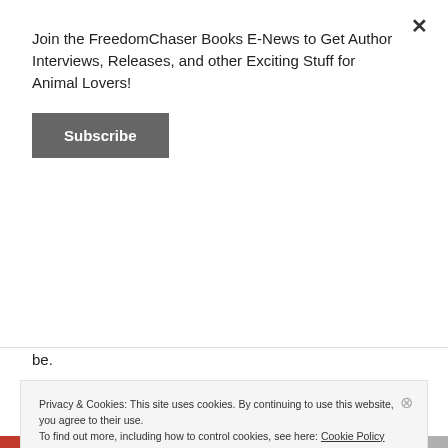Join the FreedomChaser Books E-News to Get Author Interviews, Releases, and other Exciting Stuff for Animal Lovers!
Subscribe
be.
Different is Beautiful is a heart-warming story for children ages 7 and up that helps them accept people who may not look the same as they do. Author Penelope Lagos also offers ten helpful tips parents can use to
Privacy & Cookies: This site uses cookies. By continuing to use this website, you agree to their use.
To find out more, including how to control cookies, see here: Cookie Policy
Close and accept